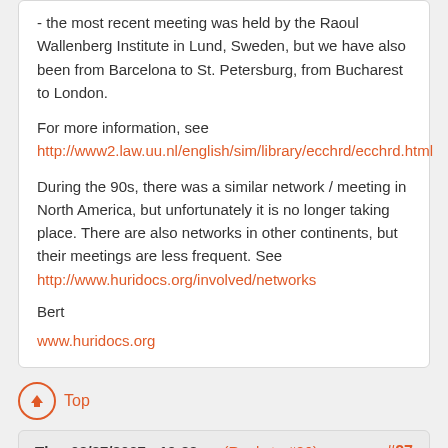- the most recent meeting was held by the Raoul Wallenberg Institute in Lund, Sweden, but we have also been from Barcelona to St. Petersburg, from Bucharest to London.
For more information, see http://www2.law.uu.nl/english/sim/library/ecchrd/ecchrd.html
During the 90s, there was a similar network / meeting in North America, but unfortunately it is no longer taking place. There are also networks in other continents, but their meetings are less frequent. See http://www.huridocs.org/involved/networks
Bert
www.huridocs.org
Top
Thu, 09/27/2007 - 10:22am (Reply to #26) #27